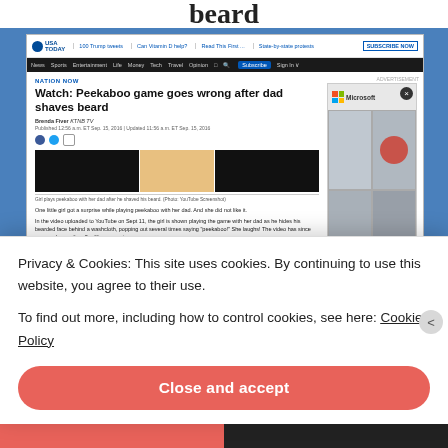beard
[Figure (screenshot): Screenshot of USA Today article: Watch: Peekaboo game goes wrong after dad shaves beard]
Privacy & Cookies: This site uses cookies. By continuing to use this website, you agree to their use.
To find out more, including how to control cookies, see here: Cookie Policy
Close and accept